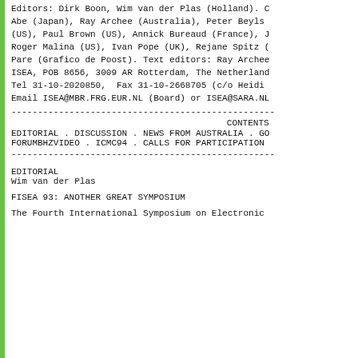Editors: Dirk Boon, Wim van der Plas (Holland). C
Abe (Japan), Ray Archee (Australia), Peter Beyls
(US), Paul Brown (US), Annick Bureaud (France), J
Roger Malina (US), Ivan Pope (UK), Rejane Spitz (
Pare (Grafico de Poost). Text editors: Ray Archee
ISEA, POB 8656, 3009 AR Rotterdam, The Netherland
Tel 31-10-2020850,  Fax 31-10-2668705 (c/o Heidi
Email ISEA@MBR.FRG.EUR.NL (Board) or ISEA@SARA.NL
---------------------------------------------------
CONTENTS
EDITORIAL . DISCUSSION . NEWS FROM AUSTRALIA . GO
FORUMBHZVIDEO . ICMC94 . CALLS FOR PARTICIPATION
---------------------------------------------------
EDITORIAL
Wim van der Plas
FISEA 93: ANOTHER GREAT SYMPOSIUM
The Fourth International Symposium on Electronic